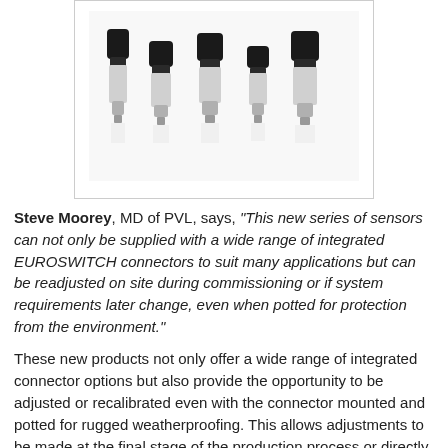[Figure (photo): Five pressure sensors of varying sizes arranged in a row, with black plastic connector tops and metallic threaded bases, shown on a white background inside a bordered box.]
Steve Moorey, MD of PVL, says, "This new series of sensors can not only be supplied with a wide range of integrated EUROSWITCH connectors to suit many applications but can be readjusted on site during commissioning or if system requirements later change, even when potted for protection from the environment."
These new products not only offer a wide range of integrated connector options but also provide the opportunity to be adjusted or recalibrated even with the connector mounted and potted for rugged weatherproofing. This allows adjustments to be made at the final stage of the production process or directly at the customer's site during system commissioning.
This innovative system has been developed in-house in